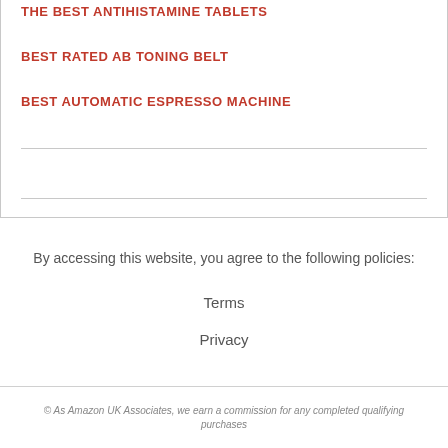THE BEST ANTIHISTAMINE TABLETS
BEST RATED AB TONING BELT
BEST AUTOMATIC ESPRESSO MACHINE
By accessing this website, you agree to the following policies:
Terms
Privacy
© As Amazon UK Associates, we earn a commission for any completed qualifying purchases